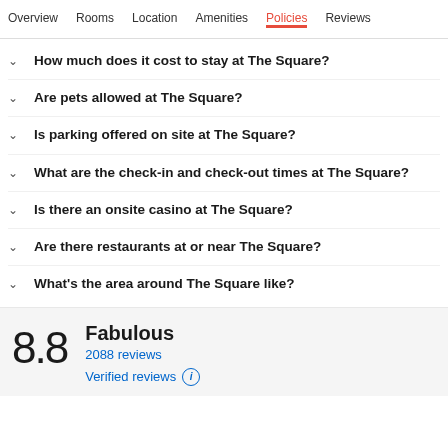Overview   Rooms   Location   Amenities   Policies   Reviews
How much does it cost to stay at The Square?
Are pets allowed at The Square?
Is parking offered on site at The Square?
What are the check-in and check-out times at The Square?
Is there an onsite casino at The Square?
Are there restaurants at or near The Square?
What's the area around The Square like?
8.8 Fabulous 2088 reviews Verified reviews